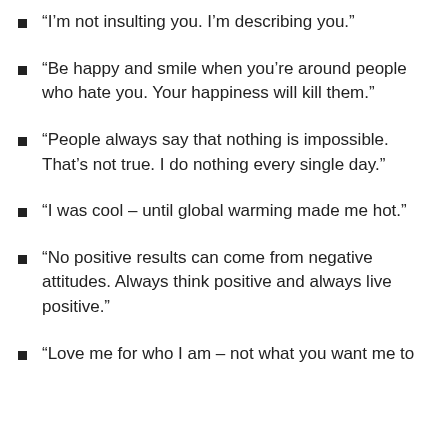“I’m not insulting you. I’m describing you.”
“Be happy and smile when you’re around people who hate you. Your happiness will kill them.”
“People always say that nothing is impossible. That’s not true. I do nothing every single day.”
“I was cool – until global warming made me hot.”
“No positive results can come from negative attitudes. Always think positive and always live positive.”
“Love me for who I am – not what you want me to